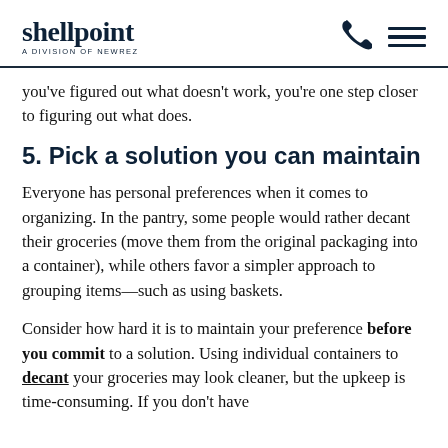shellpoint — A DIVISION OF NEWREZ
you've figured out what doesn't work, you're one step closer to figuring out what does.
5. Pick a solution you can maintain
Everyone has personal preferences when it comes to organizing. In the pantry, some people would rather decant their groceries (move them from the original packaging into a container), while others favor a simpler approach to grouping items—such as using baskets.
Consider how hard it is to maintain your preference before you commit to a solution. Using individual containers to decant your groceries may look cleaner, but the upkeep is time-consuming. If you don't have